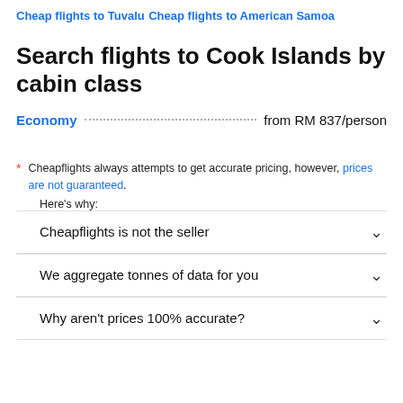Cheap flights to Tuvalu
Cheap flights to American Samoa
Search flights to Cook Islands by cabin class
Economy … from RM 837/person
* Cheapflights always attempts to get accurate pricing, however, prices are not guaranteed. Here's why:
Cheapflights is not the seller
We aggregate tonnes of data for you
Why aren't prices 100% accurate?